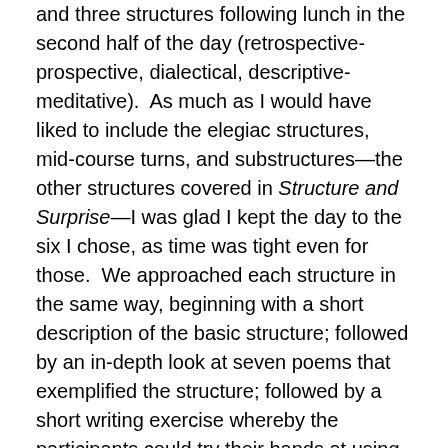and three structures following lunch in the second half of the day (retrospective-prospective, dialectical, descriptive-meditative). As much as I would have liked to include the elegiac structures, mid-course turns, and substructures—the other structures covered in Structure and Surprise—I was glad I kept the day to the six I chose, as time was tight even for those. We approached each structure in the same way, beginning with a short description of the basic structure; followed by an in-depth look at seven poems that exemplified the structure; followed by a short writing exercise whereby the participants could try their hands at using the structure; and ending with discussion and sharing of newly drafted works-in-progress.
The descriptions of the structures came straight from the chapters in Structure and Surprise, as did a number of the